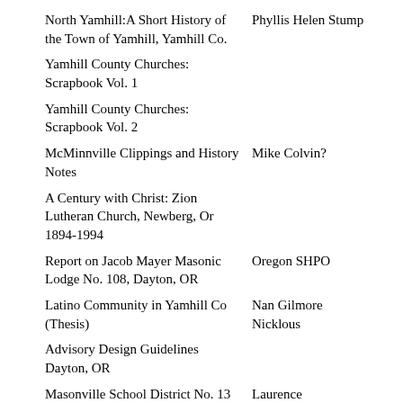| Title | Author/Source |
| --- | --- |
| North Yamhill:A Short History of the Town of Yamhill, Yamhill Co. | Phyllis Helen Stump |
| Yamhill County Churches: Scrapbook Vol. 1 |  |
| Yamhill County Churches: Scrapbook Vol. 2 |  |
| McMinnville Clippings and History Notes | Mike Colvin? |
| A Century with Christ: Zion Lutheran Church, Newberg, Or 1894-1994 |  |
| Report on Jacob Mayer Masonic Lodge No. 108, Dayton, OR | Oregon SHPO |
| Latino Community in Yamhill Co (Thesis) | Nan Gilmore Nicklous |
| Advisory Design Guidelines Dayton, OR |  |
| Masonville School District No. 13 | Laurence |